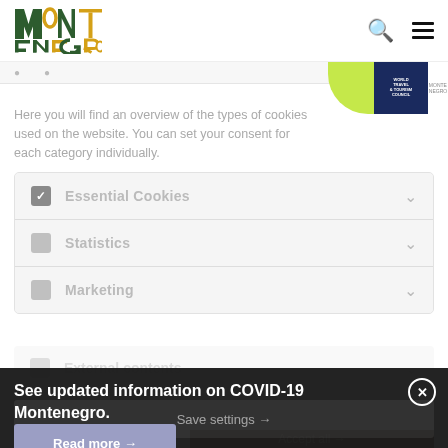[Figure (logo): Montenegro tourism logo with colorful geometric letters]
Here you will find an overview of the types of cookies used on the website. You can set your consent for each category individually.
Essential Cookies
Statistics
Marketing
External contents
See updated information on COVID-19 Montenegro.
Save settings →
Read more →
Accept all →